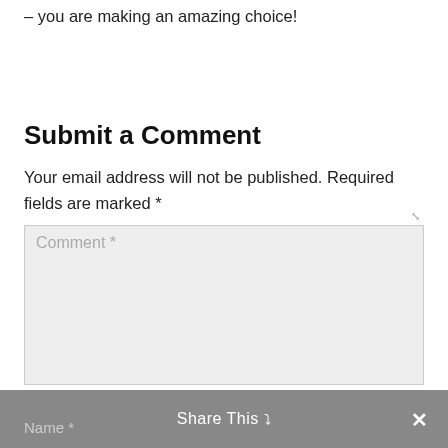– you are making an amazing choice!
Submit a Comment
Your email address will not be published. Required fields are marked *
[Figure (screenshot): Comment text area input box with placeholder text 'Comment *' and resize handle at bottom right]
Name *   Share This ∨   ✕